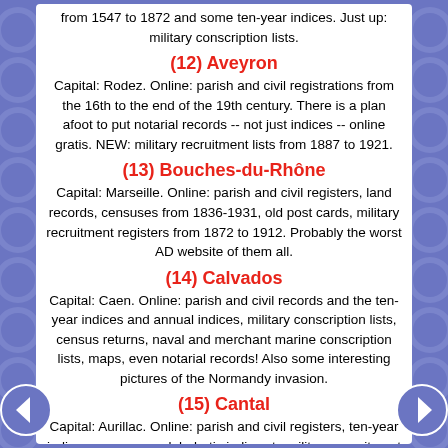from 1547 to 1872 and some ten-year indices. Just up: military conscription lists.
(12) Aveyron
Capital: Rodez. Online: parish and civil registrations from the 16th to the end of the 19th century. There is a plan afoot to put notarial records -- not just indices -- online gratis. NEW: military recruitment lists from 1887 to 1921.
(13) Bouches-du-Rhône
Capital: Marseille. Online: parish and civil registers, land records, censuses from 1836-1931, old post cards, military recruitment registers from 1872 to 1912. Probably the worst AD website of them all.
(14) Calvados
Capital: Caen. Online: parish and civil records and the ten-year indices and annual indices, military conscription lists, census returns, naval and merchant marine conscription lists, maps, even notarial records! Also some interesting pictures of the Normandy invasion.
(15) Cantal
Capital: Aurillac. Online: parish and civil registers, ten-year indices, censuses, alphabetic indices to military recruitment lists and the lists as well, photographs, and notarial records